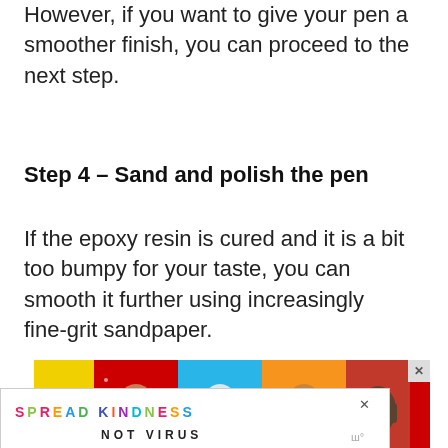However, if you want to give your pen a smoother finish, you can proceed to the next step.
Step 4 – Sand and polish the pen
If the epoxy resin is cured and it is a bit too bumpy for your taste, you can smooth it further using increasingly fine-grit sandpaper.
[Figure (infographic): Wash Your Hands Often advertisement banner with four colored panels showing hand-washing illustrations labeled Wash, Your, Hands, Often]
[Figure (infographic): Spread Kindness Not Virus advertisement banner with colorful letters]